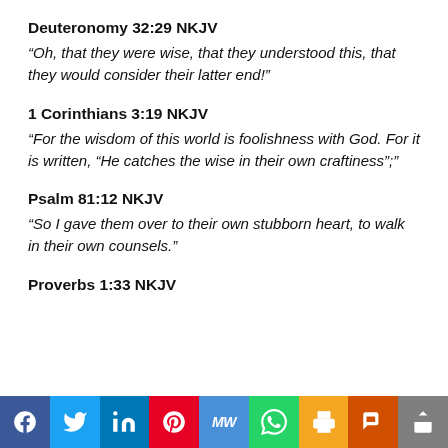Deuteronomy 32:29 NKJV
“Oh, that they were wise, that they understood this, that they would consider their latter end!”
1 Corinthians 3:19 NKJV
“For the wisdom of this world is foolishness with God. For it is written, “He catches the wise in their own craftiness”;”
Psalm 81:12 NKJV
“So I gave them over to their own stubborn heart, to walk in their own counsels.”
Proverbs 1:33 NKJV
[Figure (infographic): Social media sharing bar with icons for Facebook, Twitter, LinkedIn, Pinterest, MeWe, WhatsApp, Print, Parler, and Share]